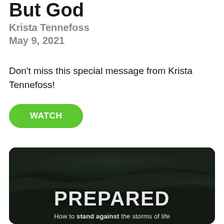But God
Krista Tennefoss
May 9, 2021
Don't miss this special message from Krista Tennefoss!
[Figure (other): Green rounded button with white text reading WATCH]
[Figure (photo): Dark stormy sky image with large white bold text PREPARED and subtitle How to stand against the storms of life]